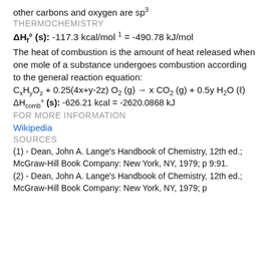other carbons and oxygen are sp³
THERMOCHEMISTRY
The heat of combustion is the amount of heat released when one mole of a substance undergoes combustion according to the general reaction equation:
FOR MORE INFORMATION
Wikipedia
SOURCES
(1) - Dean, John A. Lange's Handbook of Chemistry, 12th ed.; McGraw-Hill Book Company: New York, NY, 1979; p 9:91.
(2) - Dean, John A. Lange's Handbook of Chemistry, 12th ed.; McGraw-Hill Book Company: New York, NY, 1979; p